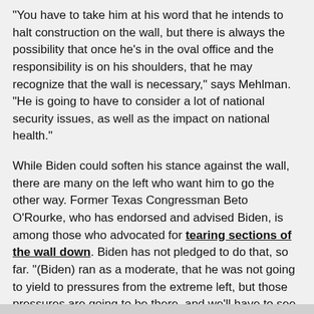"You have to take him at his word that he intends to halt construction on the wall, but there is always the possibility that once he's in the oval office and the responsibility is on his shoulders, that he may recognize that the wall is necessary," says Mehlman. "He is going to have to consider a lot of national security issues, as well as the impact on national health."
While Biden could soften his stance against the wall, there are many on the left who want him to go the other way. Former Texas Congressman Beto O'Rourke, who has endorsed and advised Biden, is among those who advocated for tearing sections of the wall down. Biden has not pledged to do that, so far. "(Biden) ran as a moderate, that he was not going to yield to pressures from the extreme left, but those pressures are going to be there, and we'll have to see which way he goes," says Mehlman.